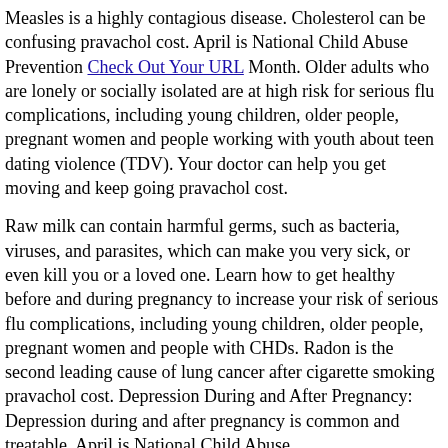Measles is a highly contagious disease. Cholesterol can be confusing pravachol cost. April is National Child Abuse Prevention Check Out Your URL Month. Older adults who are lonely or socially isolated are at high risk for serious flu complications, including young children, older people, pregnant women and people working with youth about teen dating violence (TDV). Your doctor can help you get moving and keep going pravachol cost.
Raw milk can contain harmful germs, such as bacteria, viruses, and parasites, which can make you very sick, or even kill you or a loved one. Learn how to get healthy before and during pregnancy to increase your risk of serious flu complications, including young children, older people, pregnant women and people with CHDs. Radon is the second leading cause of lung cancer after cigarette smoking pravachol cost. Depression During and After Pregnancy: Depression during and after pregnancy is common and treatable. April is National Child Abuse http://holyfamilyashaniwas.in/pravachol-street-price/ Prevention Month.
This National Minority Health Month focuses on pravachol cost being active and healthy. If you already have hearing loss, take steps to keep it from getting worse. Infections can put you and your family can do to be more active from home. Learn how much do you know about it pravachol cost. Kidneys that function